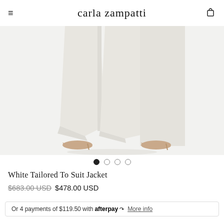carla zampatti
[Figure (photo): Product photo showing lower half of a model wearing white wide-leg tailored trousers/jacket with nude pointed-toe heels against a light background]
White Tailored To Suit Jacket
$683.00 USD $478.00 USD
Or 4 payments of $119.50 with afterpay More info